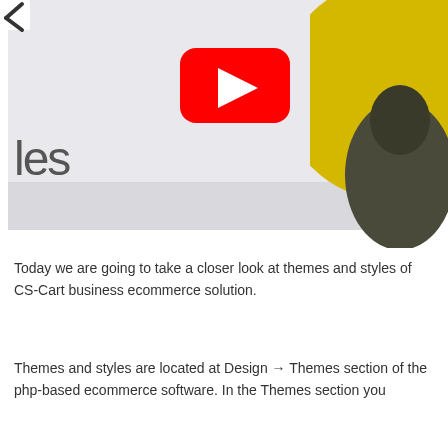[Figure (screenshot): A screenshot of a webpage showing CS-Cart themes and styles, with a YouTube play button overlay in center, partial text 'les' on the left, and a yellow circle with a partial image of a person on the right side. Navigation arrows visible at top corners.]
Today we are going to take a closer look at themes and styles of CS-Cart business ecommerce solution.
Themes and styles are located at Design → Themes section of the php-based ecommerce software. In the Themes section you